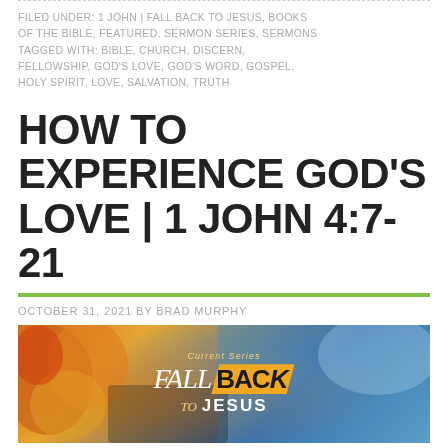FILED UNDER: 1 JOHN | FALL BACK TO JESUS, BOOKS OF THE BIBLE, FEATURED, SERMON SERIES, SERMONS TAGGED WITH: BIBLE, CHURCH, DISCERN, FELLOWSHIP, GOD'S LOVE, GOD'S WORD, GOSPEL, HOLY SPIRIT, LOVE, SALVATION, TRUTH
HOW TO EXPERIENCE GOD'S LOVE | 1 JOHN 4:7-21
OCTOBER 31, 2021 BY BRAD MURPHY
[Figure (photo): Promotional image for 'Fall Back to Jesus' sermon series showing autumn leaves and blue sky background with logo text reading 'Current Series FALL BACK TO JESUS']